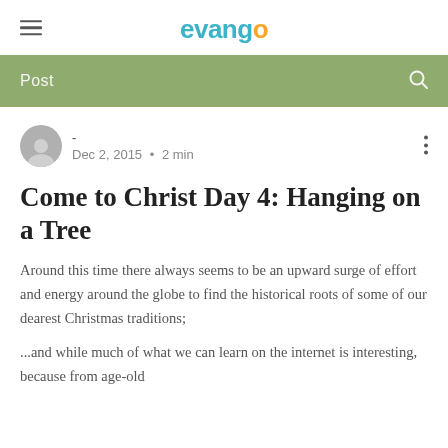evango
Post
- Dec 2, 2015 • 2 min
Come to Christ Day 4: Hanging on a Tree
Around this time there always seems to be an upward surge of effort and energy around the globe to find the historical roots of some of our dearest Christmas traditions;
...and while much of what we can learn on the internet is interesting, because from age-old